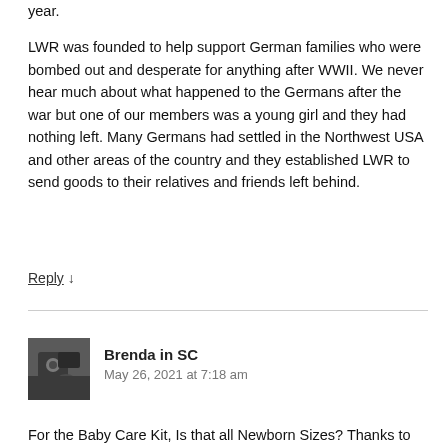year.

LWR was founded to help support German families who were bombed out and desperate for anything after WWII. We never hear much about what happened to the Germans after the war but one of our members was a young girl and they had nothing left. Many Germans had settled in the Northwest USA and other areas of the country and they established LWR to send goods to their relatives and friends left behind.
Reply ↓
Brenda in SC
May 26, 2021 at 7:18 am
[Figure (photo): Avatar photo of commenter Brenda in SC — a person holding a camera, dark tones]
For the Baby Care Kit, Is that all Newborn Sizes? Thanks to